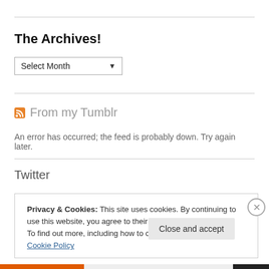The Archives!
[Figure (other): A dropdown select box labeled 'Select Month' with a downward chevron arrow]
From my Tumblr
An error has occurred; the feed is probably down. Try again later.
Twitter
Privacy & Cookies: This site uses cookies. By continuing to use this website, you agree to their use.
To find out more, including how to control cookies, see here: Cookie Policy
Close and accept